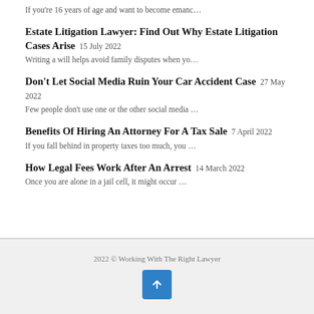If you're 16 years of age and want to become emanc…
Estate Litigation Lawyer: Find Out Why Estate Litigation Cases Arise  15 July 2022
Writing a will helps avoid family disputes when yo…
Don't Let Social Media Ruin Your Car Accident Case  27 May 2022
Few people don't use one or the other social media …
Benefits Of Hiring An Attorney For A Tax Sale  7 April 2022
If you fall behind in property taxes too much, you …
How Legal Fees Work After An Arrest  14 March 2022
Once you are alone in a jail cell, it might occur …
2022 © Working With The Right Lawyer